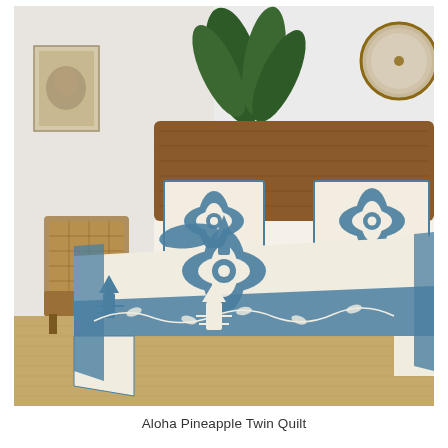[Figure (photo): A styled bedroom scene showing a bed dressed with an Aloha Pineapple quilt and matching shams. The quilt is cream/beige with a blue Hawaiian appliqué pattern featuring pineapples and floral motifs along the border and center. Two matching pillow shams show a large blue Hawaiian hibiscus/floral appliqué medallion on a cream background. The bed has a warm wood headboard. A wicker armchair and tropical plant are visible in the background. A round mirror is visible on the wall to the right. The floor has a natural jute rug.]
Aloha Pineapple Twin Quilt